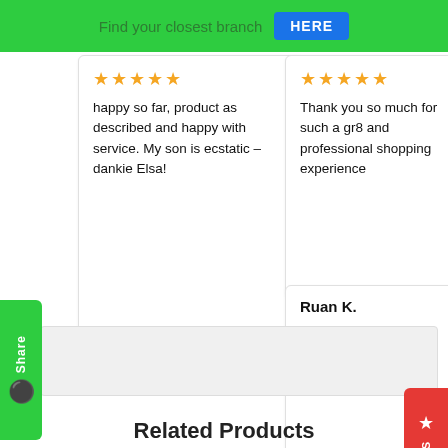Find your closest branch HERE
happy so far, product as described and happy with service. My son is ecstatic – dankie Elsa!
Thank you so much for such a gr8 and professional shopping experience
Ruan K.
★★★★★
My friends and I have had hours of fun.
Related Products